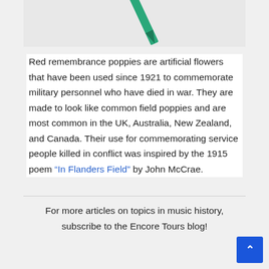[Figure (illustration): Top portion of a green pencil or pen on a light gray background, showing the tip pointing downward-left]
Red remembrance poppies are artificial flowers that have been used since 1921 to commemorate military personnel who have died in war. They are made to look like common field poppies and are most common in the UK, Australia, New Zealand, and Canada. Their use for commemorating service people killed in conflict was inspired by the 1915 poem “In Flanders Field” by John McCrae.
For more articles on topics in music history, subscribe to the Encore Tours blog!